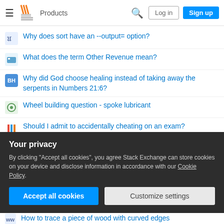Stack Exchange — Products | Log in | Sign up
Why does sort have an --output= option?
What does the term Other Revenue mean?
Why did God choose healing instead of taking away the serpents in Numbers 21:6?
Wheel building question - spoke lubricant
Should I admit to accidentally cheating on an exam?
Can exam questions be removed for being too difficult after students have sat the exam?
Spectrum Width vs Data Carrying Capacity
Cantonese Question: When does one use 了 versus 咗?
Your privacy

By clicking "Accept all cookies", you agree Stack Exchange can store cookies on your device and disclose information in accordance with our Cookie Policy.
How to trace a piece of wood with curved edges